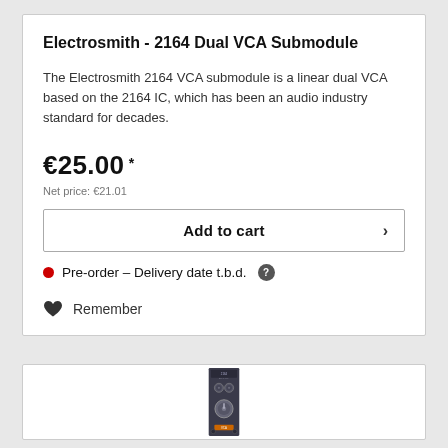Electrosmith - 2164 Dual VCA Submodule
The Electrosmith 2164 VCA submodule is a linear dual VCA based on the 2164 IC, which has been an audio industry standard for decades.
€25.00 *
Net price: €21.01
Add to cart
Pre-order – Delivery date t.b.d. ?
Remember
[Figure (photo): Photo of the Electrosmith 2164 Dual VCA Submodule hardware — a small narrow eurorack module with a dark grey panel, two knobs at top, and one large knob in the middle with an orange accent at bottom.]